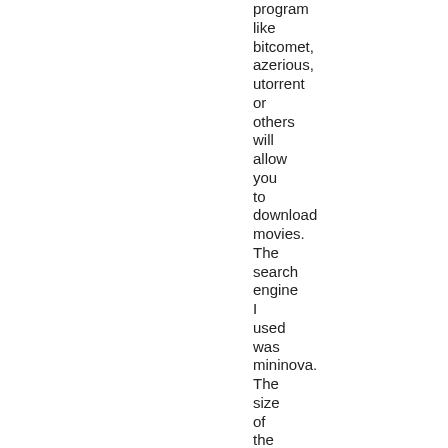program like bitcomet, azerious, utorrent or others will allow you to download movies. The search engine I used was mininova. The size of the file is approx